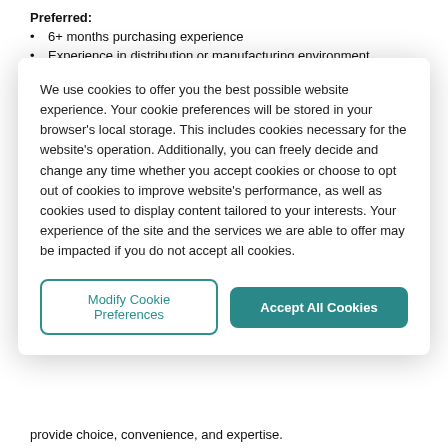Preferred:
6+ months purchasing experience
Experience in distribution or manufacturing environment
Desired characteristics:
Demonstrated teamwork, productivity, accuracy, and
We use cookies to offer you the best possible website experience. Your cookie preferences will be stored in your browser's local storage. This includes cookies necessary for the website's operation. Additionally, you can freely decide and change any time whether you accept cookies or choose to opt out of cookies to improve website's performance, as well as cookies used to display content tailored to your interests. Your experience of the site and the services we are able to offer may be impacted if you do not accept all cookies.
Modify Cookie Preferences
Accept All Cookies
provide choice, convenience, and expertise.